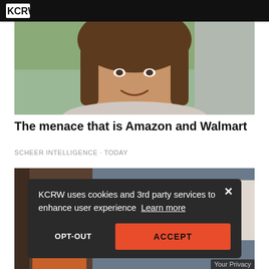KCRW
[Figure (photo): Headshot of a woman with medium-length brown hair, smiling, outdoors with blurred green/grey background]
The menace that is Amazon and Walmart
SCHEER INTELLIGENCE · TODAY
[Figure (photo): Second article photo partially visible, showing a person in orange/brown and a sign/banner in background]
KCRW uses cookies and 3rd party services to enhance user experience Learn more
OPT-OUT
ACCEPT
Your Privacy